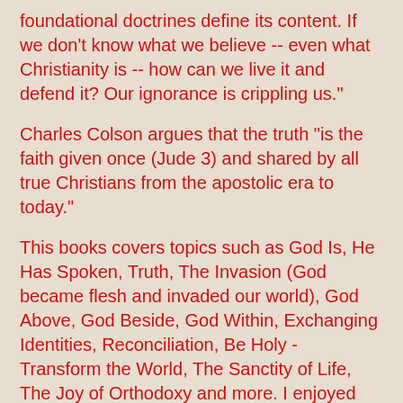foundational doctrines define its content. If we don't know what we believe -- even what Christianity is -- how can we live it and defend it? Our ignorance is crippling us."
Charles Colson argues that the truth "is the faith given once (Jude 3) and shared by all true Christians from the apostolic era to today."
This books covers topics such as God Is, He Has Spoken, Truth, The Invasion (God became flesh and invaded our world), God Above, God Beside, God Within, Exchanging Identities, Reconciliation, Be Holy - Transform the World, The Sanctity of Life, The Joy of Orthodoxy and more. I enjoyed the examples and stories shared including the Amish community in Nickel Mines, PA, Speratus from North Africa in AD 180, the Chinese house church movement, Dietrich Bonhoeffer, Jesus Amado Sarria, Theo van Gogh, Ayaan Hirsi Ali and Mohammed Bouyeri.
A few things that I made note of include the following:
The Trinity "answers the deepest needs of the human heart